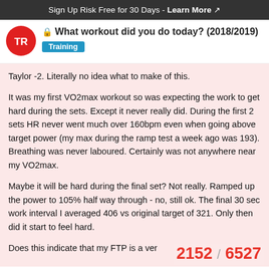Sign Up Risk Free for 30 Days - Learn More ↗
🔒 What workout did you do today? (2018/2019)
Training
Taylor -2. Literally no idea what to make of this.
It was my first VO2max workout so was expecting the work to get hard during the sets. Except it never really did. During the first 2 sets HR never went much over 160bpm even when going above target power (my max during the ramp test a week ago was 193). Breathing was never laboured. Certainly was not anywhere near my VO2max.
Maybe it will be hard during the final set? Not really. Ramped up the power to 105% half way through - no, still ok. The final 30 sec work interval I averaged 406 vs original target of 321. Only then did it start to feel hard.
Does this indicate that my FTP is a ver
2152 / 6527